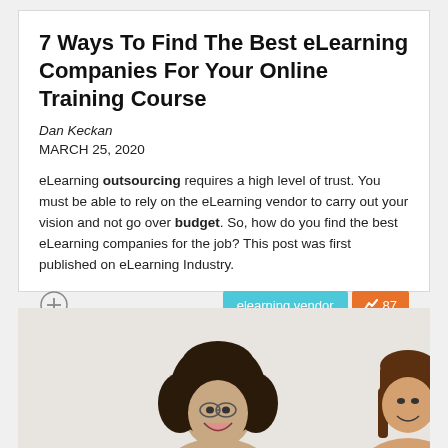7 Ways To Find The Best eLearning Companies For Your Online Training Course
Dan Keckan
MARCH 25, 2020
eLearning outsourcing requires a high level of trust. You must be able to rely on the eLearning vendor to carry out your vision and not go over budget. So, how do you find the best eLearning companies for the job? This post was first published on eLearning Industry.
[Figure (photo): Two women smiling, one with curly hair and glasses, another partially visible on the right]